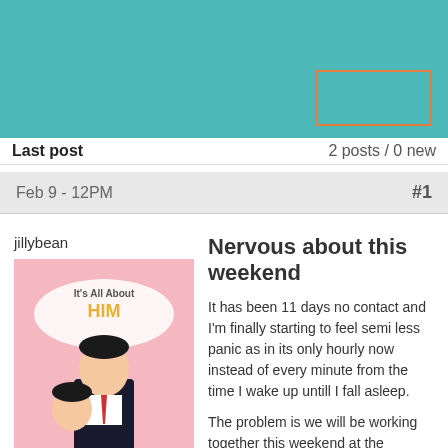[Figure (screenshot): Teal website header bar with an orange-bordered button in the top right]
Last post
2 posts / 0 new
Feb 9 - 12PM
#1
jillybean
[Figure (photo): Book cover: It's All About HIM - Narcissist male, illustrated retro style]
Nervous about this weekend
It has been 11 days no contact and I'm finally starting to feel semi less panic as in its only hourly now instead of every minute from the time I wake up untill I fall asleep.
The problem is we will be working together this weekend at the hospital where he is the physican on-call. There is no way to avoid running into him being a smaller community hospital.
11 days ago I told him I wanted to do my own thing and thanked him for the time we had and quickly got off phone. At first I thought he was just a control freak with self esteem